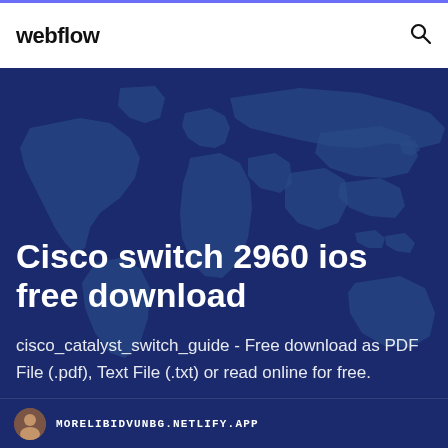webflow
[Figure (illustration): World map illustration with blue color overlay as hero background]
Cisco switch 2960 ios free download
cisco_catalyst_switch_guide - Free download as PDF File (.pdf), Text File (.txt) or read online for free.
MORELIBIDVUNBG.NETLIFY.APP